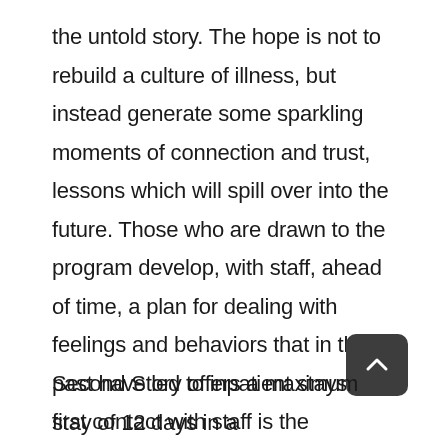the untold story. The hope is not to rebuild a culture of illness, but instead generate some sparkling moments of connection and trust, lessons which will spill over into the future. Those who are drawn to the program develop, with staff, ahead of time, a plan for dealing with feelings and behaviors that in the past have led to inpatient stays. The first contact with staff is the beginning of using different views, working together to figure out what might be different. The summary of this meeting is kept on file until a time comes when a potential guest wants to stay at Second Story. The plan is updated and used as a guide to get good results from the time together at Second Story.
Second Story offers a maximum stay of 12 days in a